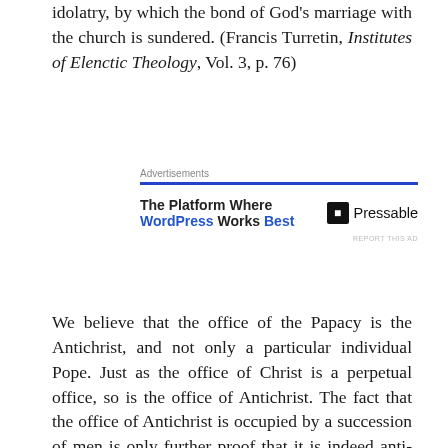idolatry, by which the bond of God's marriage with the church is sundered. (Francis Turretin, Institutes of Elenctic Theology, Vol. 3, p. 76)
[Figure (other): Advertisement banner for Pressable WordPress hosting: 'The Platform Where WordPress Works Best' with Pressable logo]
We believe that the office of the Papacy is the Antichrist, and not only a particular individual Pope. Just as the office of Christ is a perpetual office, so is the office of Antichrist. The fact that the office of Antichrist is occupied by a succession of men is only further proof that it is indeed anti-Christ. Whereas one Man, Jesus Christ, remains for ever in the office of Christ and true head of the Church, many men attempt to usurp Christ's place as the sole Head of the